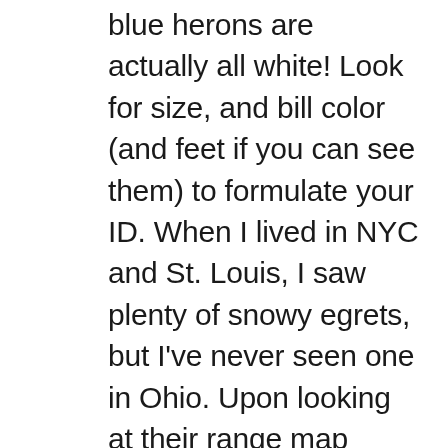blue herons are actually all white! Look for size, and bill color (and feet if you can see them) to formulate your ID. When I lived in NYC and St. Louis, I saw plenty of snowy egrets, but I've never seen one in Ohio. Upon looking at their range map while researching this post, I realized the snowy egret isn't quite as widespread as I thought they were. They're only found in the southern half of the continental U.S. and even then, only mostly during migration, and northern Ohio, where I now live, is outside their range! Who knew! In terms of habits and behavior, they're fairly typical of other herons, stalking prey along the shores. In NYC, they seemed to prefer salt water, as I would see them along salt and brackish water shores and almost never along the fresh waters of Central Park (or any of the other inland parks